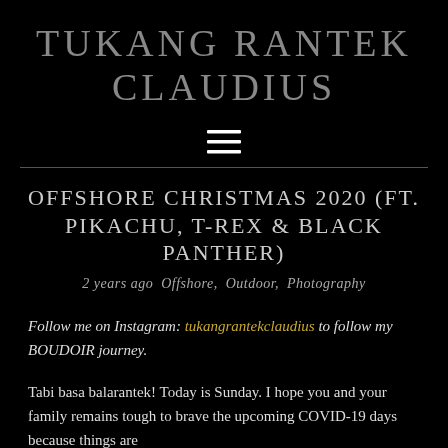TUKANG RANTEK CLAUDIUS
[Figure (other): Hamburger menu icon (three horizontal white lines)]
OFFSHORE CHRISTMAS 2020 (FT. PIKACHU, T-REX & BLACK PANTHER)
2 years ago  Offshore,  Outdoor,  Photography
Follow me on Instagram: tukangrantekclaudius to follow my BOUDOIR journey.
Tabi basa balarantek! Today is Sunday. I hope you and your family remains tough to brave the upcoming COVID-19 days because things are